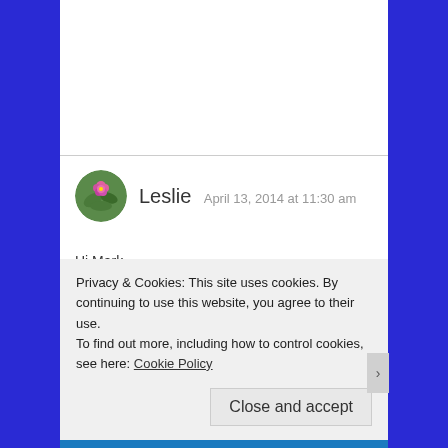[Figure (illustration): Circular avatar image of a person with pink flowers and green leaves background]
Leslie  April 13, 2014 at 11:30 am
Hi Mark,
I just received your training book and I'm starting to put together my plan for the year. I have climbed probably 10 or so 12a/b's in the past two years but decided to ski rather than train for climbing this winter. Now I'm struggling on easy 5.11. When picking appropriate workouts (hangboard, etc)
Privacy & Cookies: This site uses cookies. By continuing to use this website, you agree to their use.
To find out more, including how to control cookies, see here: Cookie Policy
Close and accept